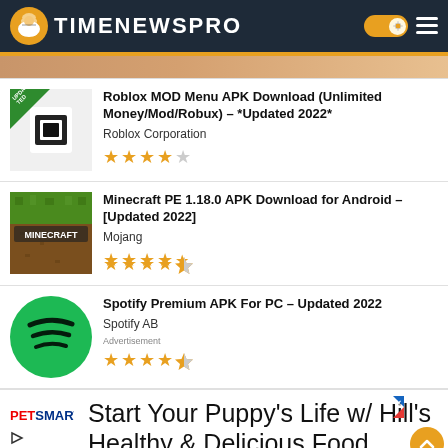TIMENEWSPRO
[Figure (screenshot): Partially visible app listing thumbnail at top]
Roblox MOD Menu APK Download (Unlimited Money/Mod/Robux) – *Updated 2022* | Roblox Corporation | ★★★★☆
Minecraft PE 1.18.0 APK Download for Android – [Updated 2022] | Mojang | ★★★★★½
Spotify Premium APK For PC – Updated 2022 | Spotify AB | ★★★★½
[Figure (advertisement): PetSmart advertisement: Start Your Puppy's Life w/ Hill's Healthy & Delicious Food.]